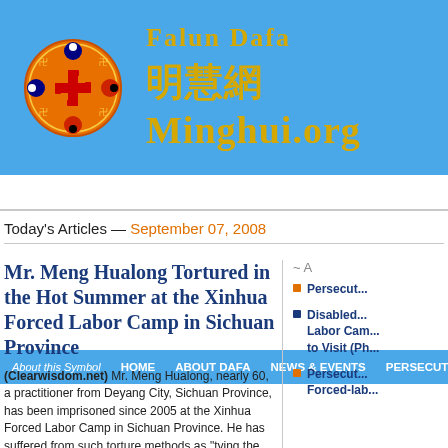[Figure (logo): Falun Dafa Minghui.org website header with logo emblem (orange circle with swastika and yin-yang symbols) and text 'FALUN DAFA' and '明慧網 MINGHUI.ORG' in gold on blue background]
About this Symbol   HOME   ABOUT DAFA   NEWS & EVENTS   PERSECUTION
Today's Articles — September 07, 2008
Mr. Meng Hualong Tortured in the Hot Summer at the Xinhua Forced Labor Camp in Sichuan Province
(Clearwisdom.net) Mr. Meng Hualong, nearly 60, a practitioner from Deyang City, Sichuan Province, has been imprisoned since 2005 at the Xinhua Forced Labor Camp in Sichuan Province. He has suffered from such torture methods as "tying the ropes," electrical baton shocks, and being forced to wear a winter hat and down coat for 10 hours on a hot 86°F summer day...
Persecution...
Disabled... Labor Camp... to Visit (Ph...
Persecution... Forced-lab...